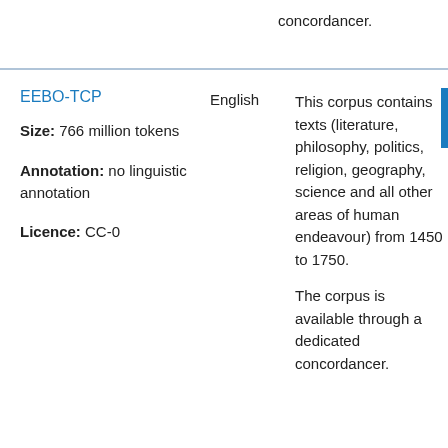concordancer.
| Corpus | Language | Description |
| --- | --- | --- |
| EEBO-TCP

Size: 766 million tokens

Annotation: no linguistic annotation

Licence: CC-0 | English | This corpus contains texts (literature, philosophy, politics, religion, geography, science and all other areas of human endeavour) from 1450 to 1750.

The corpus is available through a dedicated concordancer. |